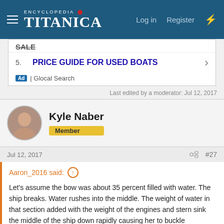Encyclopedia Titanica — Log in  Register
[Figure (other): Advertisement box: item 5. PRICE GUIDE FOR USED BOATS — Ad | Glocal Search]
Last edited by a moderator: Jul 12, 2017
Kyle Naber
Member
Jul 12, 2017  #27
Aaron_2016 said: ↑

Let's assume the bow was about 35 percent filled with water. The ship breaks. Water rushes into the middle. The weight of water in that section added with the weight of the engines and stern sink the middle of the ship down rapidly causing her to buckle amidships. Whatever water that was forward would then rush aft. As the back of the bow sinks down rapidly the stern cants upwards and turns around. As the two sections separate the bow sinks down just as the stern swings